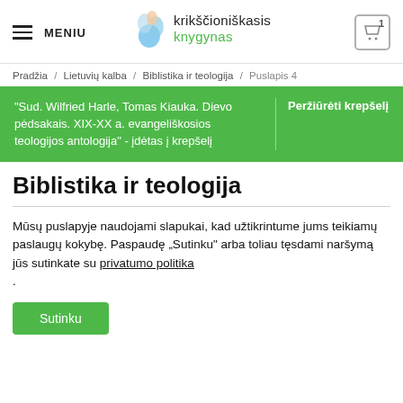MENIU | krikščioniškasis knygynas | 1
Pradžia / Lietuvių kalba / Biblistika ir teologija / Puslapis 4
"Sud. Wilfried Harle, Tomas Kiauka. Dievo pėdsakais. XIX-XX a. evangeliškosios teologijos antologija" - įdėtas į krepšelį | Peržiūrėti krepšelį
Biblistika ir teologija
Mūsų puslapyje naudojami slapukai, kad užtikrintume jums teikiamų paslaugų kokybę. Paspaudę „Sutinku" arba toliau tęsdami naršymą jūs sutinkate su privatumo politika .
Sutinku